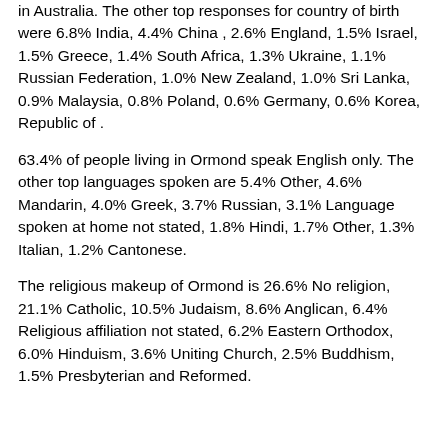in Australia. The other top responses for country of birth were 6.8% India, 4.4% China , 2.6% England, 1.5% Israel, 1.5% Greece, 1.4% South Africa, 1.3% Ukraine, 1.1% Russian Federation, 1.0% New Zealand, 1.0% Sri Lanka, 0.9% Malaysia, 0.8% Poland, 0.6% Germany, 0.6% Korea, Republic of .
63.4% of people living in Ormond speak English only. The other top languages spoken are 5.4% Other, 4.6% Mandarin, 4.0% Greek, 3.7% Russian, 3.1% Language spoken at home not stated, 1.8% Hindi, 1.7% Other, 1.3% Italian, 1.2% Cantonese.
The religious makeup of Ormond is 26.6% No religion, 21.1% Catholic, 10.5% Judaism, 8.6% Anglican, 6.4% Religious affiliation not stated, 6.2% Eastern Orthodox, 6.0% Hinduism, 3.6% Uniting Church, 2.5% Buddhism, 1.5% Presbyterian and Reformed.